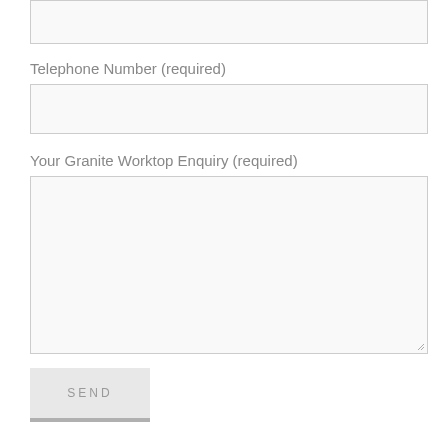[Figure (screenshot): A form input text box (top portion cut off) for a web contact form.]
Telephone Number (required)
[Figure (screenshot): A single-line text input field for telephone number.]
Your Granite Worktop Enquiry (required)
[Figure (screenshot): A large multi-line textarea input for the enquiry message, with a resize handle in the bottom-right corner.]
[Figure (screenshot): A grey SEND button with a drop shadow.]